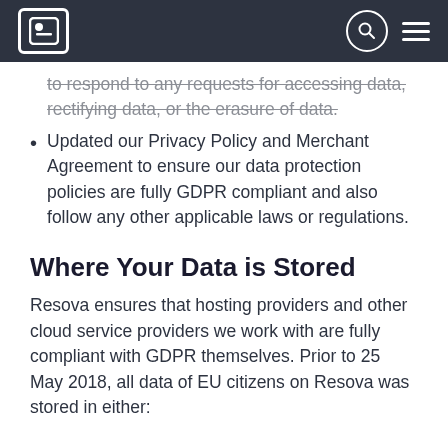Resova logo, search, menu
to respond to any requests for accessing data, rectifying data, or the erasure of data.
Updated our Privacy Policy and Merchant Agreement to ensure our data protection policies are fully GDPR compliant and also follow any other applicable laws or regulations.
Where Your Data is Stored
Resova ensures that hosting providers and other cloud service providers we work with are fully compliant with GDPR themselves. Prior to 25 May 2018, all data of EU citizens on Resova was stored in either: